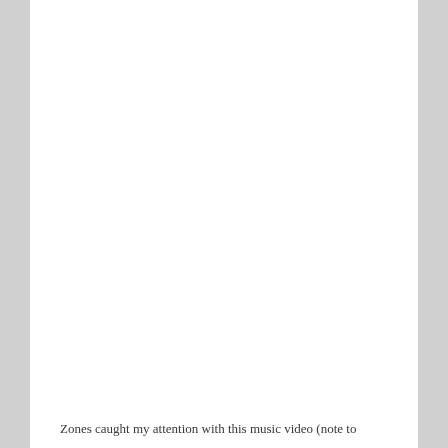Zones caught my attention with this music video (note to